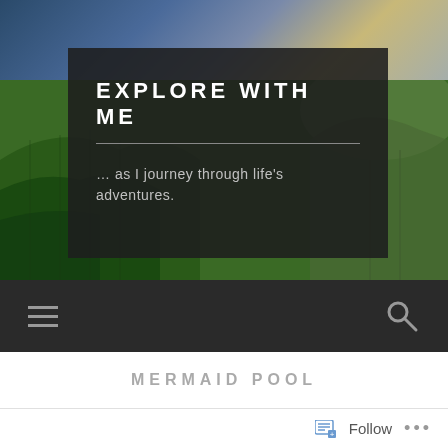[Figure (photo): Landscape photo showing green terraced hills and cloudy sky, used as hero banner background]
EXPLORE WITH ME
… as I journey through life's adventures.
[Figure (other): Dark navigation bar with hamburger menu icon on left and search magnifier icon on right]
MERMAID POOL
Follow  •••